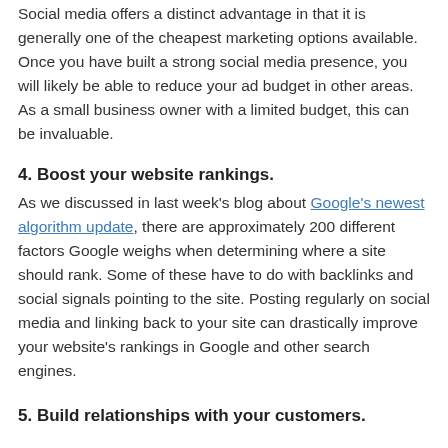Social media offers a distinct advantage in that it is generally one of the cheapest marketing options available. Once you have built a strong social media presence, you will likely be able to reduce your ad budget in other areas. As a small business owner with a limited budget, this can be invaluable.
4. Boost your website rankings.
As we discussed in last week's blog about Google's newest algorithm update, there are approximately 200 different factors Google weighs when determining where a site should rank. Some of these have to do with backlinks and social signals pointing to the site. Posting regularly on social media and linking back to your site can drastically improve your website's rankings in Google and other search engines.
5. Build relationships with your customers.